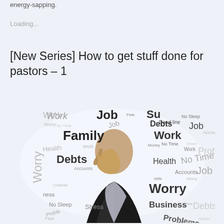energy-sapping.
Loading...
[New Series] How to get stuff done for pastors – 1
[Figure (photo): A stressed man in a suit covering his face with his hand, surrounded by a word cloud of stress-related words including Work, Job, Family, Debts, Worry, Health, No Sleep, Stress, Business, Problems, No Time, Accounts, Fear, Dead line, Money, Prob, Debts]